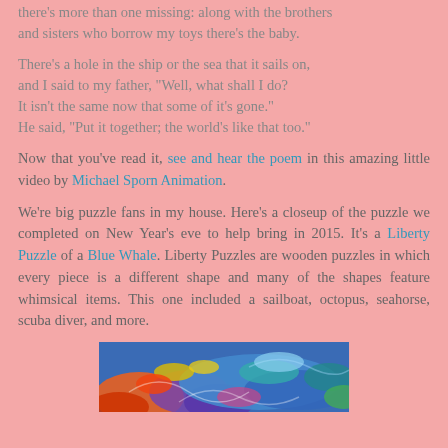there's more than one missing: along with the brothers
and sisters who borrow my toys there's the baby.
There's a hole in the ship or the sea that it sails on,
and I said to my father, "Well, what shall I do?
It isn't the same now that some of it's gone."
He said, "Put it together; the world's like that too."
Now that you've read it, see and hear the poem in this amazing little video by Michael Sporn Animation.
We're big puzzle fans in my house. Here's a closeup of the puzzle we completed on New Year's eve to help bring in 2015. It's a Liberty Puzzle of a Blue Whale. Liberty Puzzles are wooden puzzles in which every piece is a different shape and many of the shapes feature whimsical items. This one included a sailboat, octopus, seahorse, scuba diver, and more.
[Figure (photo): Closeup of a colorful Blue Whale Liberty Puzzle showing vibrant swirling patterns in blue, orange, red, purple and green tones.]